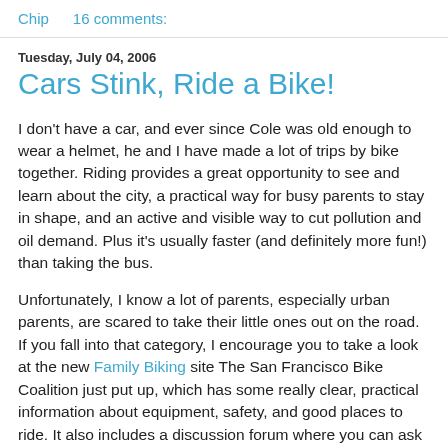Chip   16 comments:
Tuesday, July 04, 2006
Cars Stink, Ride a Bike!
I don't have a car, and ever since Cole was old enough to wear a helmet, he and I have made a lot of trips by bike together. Riding provides a great opportunity to see and learn about the city, a practical way for busy parents to stay in shape, and an active and visible way to cut pollution and oil demand. Plus it's usually faster (and definitely more fun!) than taking the bus.
Unfortunately, I know a lot of parents, especially urban parents, are scared to take their little ones out on the road. If you fall into that category, I encourage you to take a look at the new Family Biking site The San Francisco Bike Coalition just put up, which has some really clear, practical information about equipment, safety, and good places to ride. It also includes a discussion forum where you can ask questions, like the ever-pressing "Will the Xtracycle fit in a MUNI bus..."